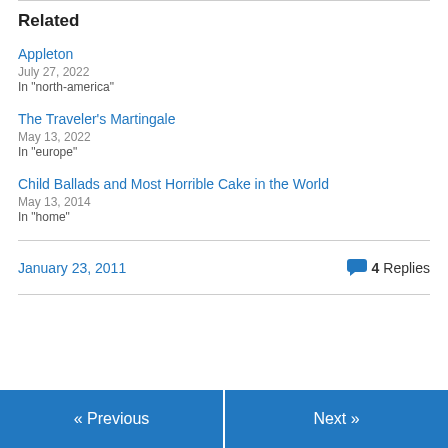Related
Appleton
July 27, 2022
In "north-america"
The Traveler's Martingale
May 13, 2022
In "europe"
Child Ballads and Most Horrible Cake in the World
May 13, 2014
In "home"
January 23, 2011   4 Replies
« Previous   Next »